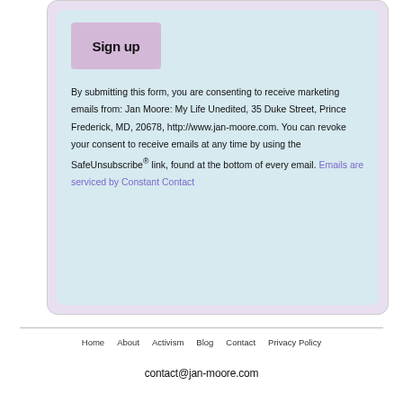Sign up
By submitting this form, you are consenting to receive marketing emails from: Jan Moore: My Life Unedited, 35 Duke Street, Prince Frederick, MD, 20678, http://www.jan-moore.com. You can revoke your consent to receive emails at any time by using the SafeUnsubscribe® link, found at the bottom of every email. Emails are serviced by Constant Contact
Home   About   Activism   Blog   Contact   Privacy Policy
contact@jan-moore.com